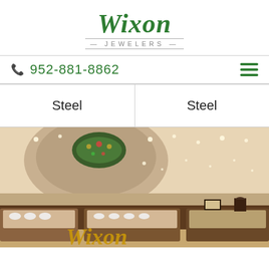[Figure (logo): Wixon Jewelers logo - green cursive Wixon text above JEWELERS in small caps with decorative lines]
952-881-8862
| Steel | Steel |
[Figure (photo): Interior of Wixon Jewelers store showing ornate ceiling with decorative Tiffany-style chandelier, recessed lighting, glass display cases filled with jewelry, wood paneling, and the Wixon logo visible on the counter]